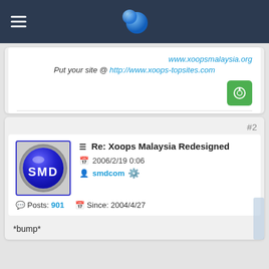Xoops Malaysia forum navigation bar
www.xoopsmalaysia.org
Put your site @ http://www.xoops-topsites.com
#2
Re: Xoops Malaysia Redesigned
2006/2/19 0:06
smdcom
Posts: 901  Since: 2004/4/27
*bump*